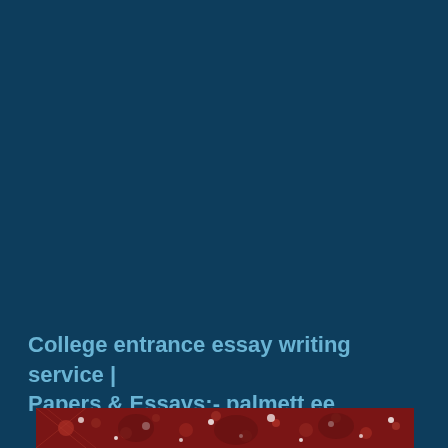College entrance essay writing service | Papers & Essays:- palmett ee
[Figure (illustration): Dark red/maroon banner image with white splatter/grunge graphic elements suggesting silhouettes and paint splatters]